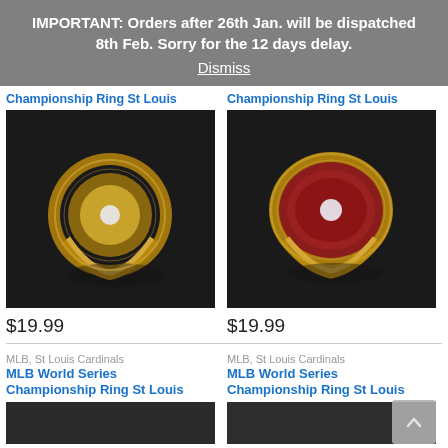IMPORTANT: Orders after 26th Jan. will be dispatched 8th Feb. Sorry for the 12 days delay. Dismiss
Championship Ring St Louis
[Figure (photo): Gold championship ring with white stone on dark background]
$19.99
Championship Ring St Louis
[Figure (photo): Gold championship ring with red enamel and white stone on dark background]
$19.99
MLB, St Louis Cardinals
MLB World Series Championship Ring St Louis
MLB, St Louis Cardinals
MLB World Series Championship Ring St Louis